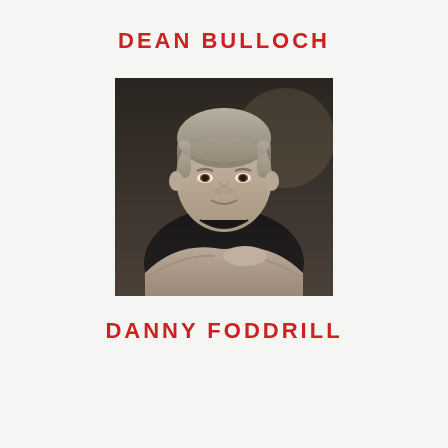DEAN BULLOCH
[Figure (photo): Black and white portrait photograph of an older man with short grey hair wearing a black t-shirt, leaning forward with arms crossed, looking directly at the camera.]
DANNY FODDRILL